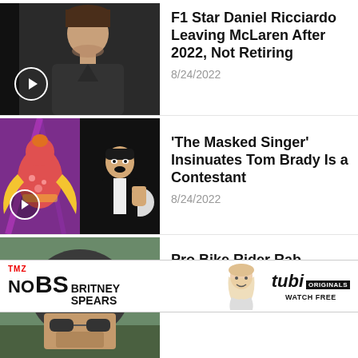[Figure (screenshot): Video thumbnail showing a man in a dark t-shirt with a play button overlay]
F1 Star Daniel Ricciardo Leaving McLaren After 2022, Not Retiring
8/24/2022
[Figure (screenshot): Split video thumbnail: left shows a colorful masked bird costume on stage with purple lighting and play button; right shows a man in tuxedo]
'The Masked Singer' Insinuates Tom Brady Is a Contestant
8/24/2022
[Figure (screenshot): Video thumbnail showing a person wearing a bike helmet in outdoor setting]
Pro Bike Rider Rab ...g Title
8/24/2022
[Figure (infographic): Advertisement banner: TMZ No BS Britney Spears, tubi ORIGINALS WATCH FREE]